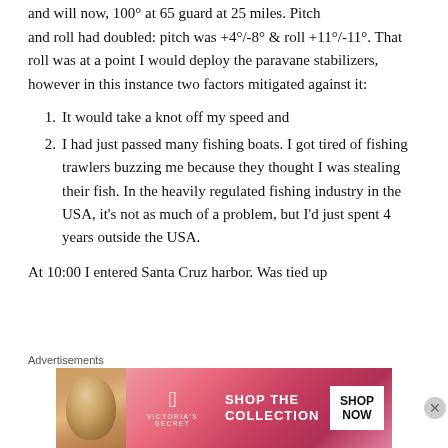and roll had doubled: pitch was +4°/-8° & roll +11°/-11°. That roll was at a point I would deploy the paravane stabilizers, however in this instance two factors mitigated against it:
1. It would take a knot off my speed and
2. I had just passed many fishing boats. I got tired of fishing trawlers buzzing me because they thought I was stealing their fish. In the heavily regulated fishing industry in the USA, it's not as much of a problem, but I'd just spent 4 years outside the USA.
At 10:00 I entered Santa Cruz harbor. Was tied up
Advertisements
[Figure (photo): Victoria's Secret advertisement banner with model photo, VS logo, 'SHOP THE COLLECTION' text, and 'SHOP NOW' button]